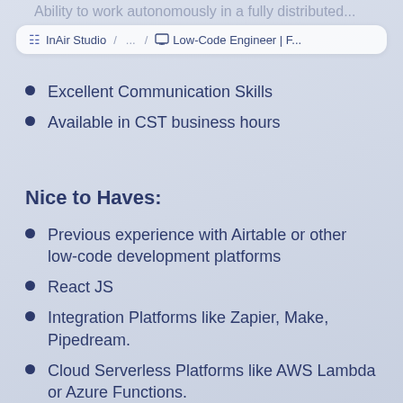Ability to work autonomously in a fully distributed...
InAir Studio / ... / Low-Code Engineer | F...
Excellent Communication Skills
Available in CST business hours
Nice to Haves:
Previous experience with Airtable or other low-code development platforms
React JS
Integration Platforms like Zapier, Make, Pipedream.
Cloud Serverless Platforms like AWS Lambda or Azure Functions.
Analytical mind Creativity, open-minded attitude